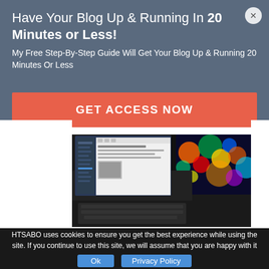Have Your Blog Up & Running In 20 Minutes or Less!
My Free Step-By-Step Guide Will Get Your Blog Up & Running 20 Minutes Or Less
GET ACCESS NOW
[Figure (photo): Person typing on a laptop computer with a colorful bokeh display screen in the background]
HTSABO uses cookies to ensure you get the best experience while using the site. If you continue to use this site, we will assume that you are happy with it
Ok
Privacy Policy